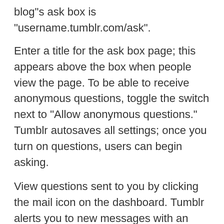blog"s ask box is "username.tumblr.com/ask".
Enter a title for the ask box page; this appears above the box when people view the page. To be able to receive anonymous questions, toggle the switch next to "Allow anonymous questions." Tumblr autosaves all settings; once you turn on questions, users can begin asking.
View questions sent to you by clicking the mail icon on the dashboard. Tumblr alerts you to new messages with an icon next to it when new questions arrive.
To Ask Questions
Hover over the icon of the user you want to send a question to; on the dashboard, this brings up a small pop-up showing that user"s details. Click the small